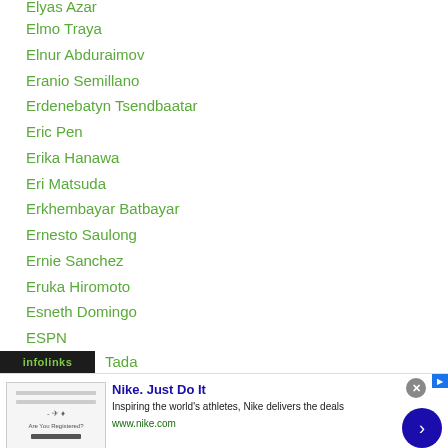Elyas Azar
Elmo Traya
Elnur Abduraimov
Eranio Semillano
Erdenebatyn Tsendbaatar
Eric Pen
Erika Hanawa
Eri Matsuda
Erkhembayar Batbayar
Ernesto Saulong
Ernie Sanchez
Eruka Hiromoto
Esneth Domingo
ESPN
ESPN+
ESPN5
Tada
[Figure (screenshot): Nike advertisement banner with infolinks label, showing Nike Just Do It ad with text 'Inspiring the world's athletes, Nike delivers the deals' and www.nike.com URL, with a blue arrow button and close X button]